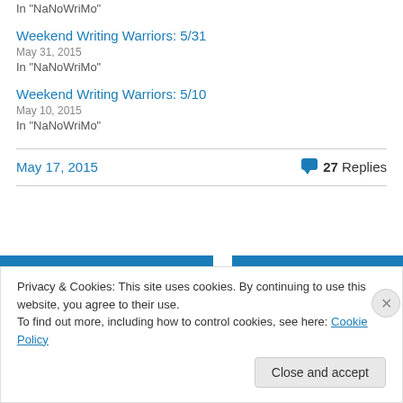In "NaNoWriMo"
Weekend Writing Warriors: 5/31
May 31, 2015
In "NaNoWriMo"
Weekend Writing Warriors: 5/10
May 10, 2015
In "NaNoWriMo"
May 17, 2015   💬 27 Replies
Privacy & Cookies: This site uses cookies. By continuing to use this website, you agree to their use.
To find out more, including how to control cookies, see here: Cookie Policy